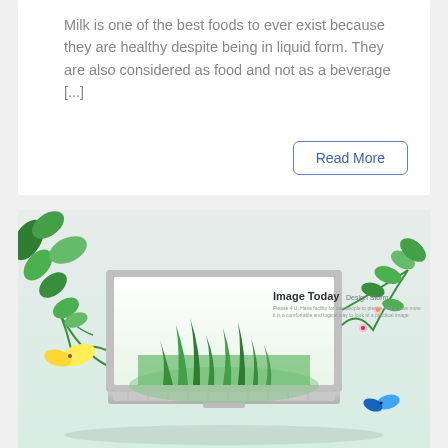Milk is one of the best foods to ever exist because they are healthy despite being in liquid form. They are also considered as food and not as a beverage [...]
Read More
[Figure (illustration): A creative illustration showing a laptop with green plants, grass, vines, flowers, yellow and blue butterflies bursting out from the screen, with text 'Image Today Design Storm' in the upper right area of the image.]